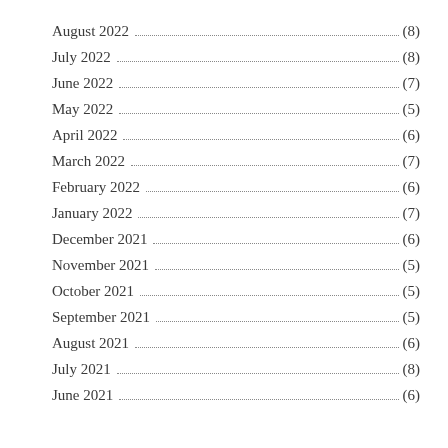August 2022 (8)
July 2022 (8)
June 2022 (7)
May 2022 (5)
April 2022 (6)
March 2022 (7)
February 2022 (6)
January 2022 (7)
December 2021 (6)
November 2021 (5)
October 2021 (5)
September 2021 (5)
August 2021 (6)
July 2021 (8)
June 2021 (6)